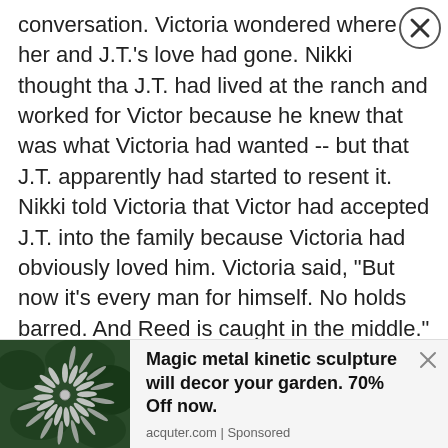conversation. Victoria wondered where her and J.T.'s love had gone. Nikki thought that J.T. had lived at the ranch and worked for Victor because he knew that was what Victoria had wanted -- but that J.T. apparently had started to resent it. Nikki told Victoria that Victor had accepted J.T. into the family because Victoria had obviously loved him. Victoria said, "But now it's every man for himself. No holds barred. And Reed is caught in the middle."

Nikki was empathetic to Victoria. She said that she had been in the same situation -- a
[Figure (photo): Close-up photo of a metal kinetic sculpture with spiral/fan-like metallic blades against a dark green foliage background]
Magic metal kinetic sculpture will decor your garden. 70% Off now. acquter.com | Sponsored